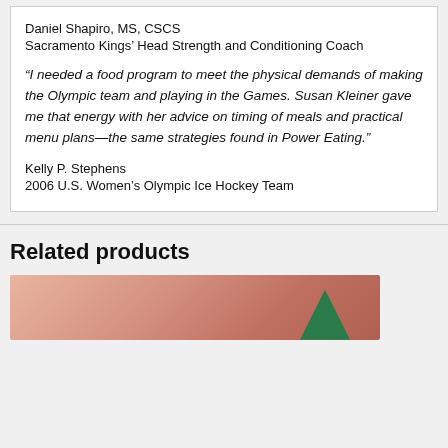Daniel Shapiro, MS, CSCS
Sacramento Kings’ Head Strength and Conditioning Coach
“I needed a food program to meet the physical demands of making the Olympic team and playing in the Games. Susan Kleiner gave me that energy with her advice on timing of meals and practical menu plans—the same strategies found in Power Eating.”
Kelly P. Stephens
2006 U.S. Women’s Olympic Ice Hockey Team
Related products
[Figure (photo): Partial book cover image with pinkish-red background and a green triangular shape visible at bottom right]